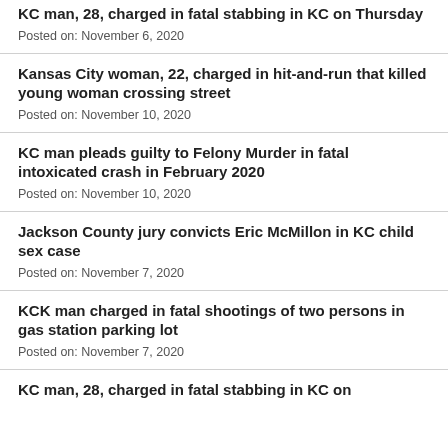KC man, 28, charged in fatal stabbing in KC on Thursday
Posted on: November 6, 2020
Kansas City woman, 22, charged in hit-and-run that killed young woman crossing street
Posted on: November 10, 2020
KC man pleads guilty to Felony Murder in fatal intoxicated crash in February 2020
Posted on: November 10, 2020
Jackson County jury convicts Eric McMillon in KC child sex case
Posted on: November 7, 2020
KCK man charged in fatal shootings of two persons in gas station parking lot
Posted on: November 7, 2020
KC man, 28, charged in fatal stabbing in KC on